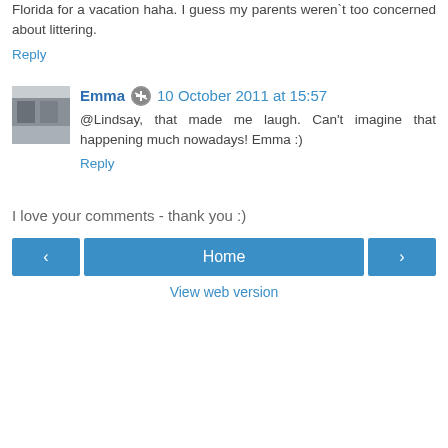Florida for a vacation haha. I guess my parents weren`t too concerned about littering.
Reply
Emma  10 October 2011 at 15:57
@Lindsay, that made me laugh. Can't imagine that happening much nowadays! Emma :)
Reply
I love your comments - thank you :)
< Home > View web version